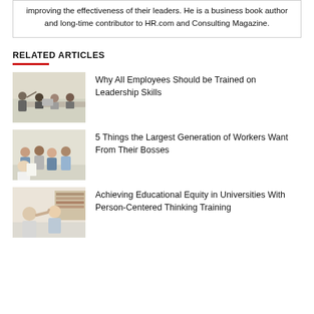improving the effectiveness of their leaders. He is a business book author and long-time contributor to HR.com and Consulting Magazine.
RELATED ARTICLES
[Figure (photo): Group of people in a meeting or training session, one person pointing]
Why All Employees Should be Trained on Leadership Skills
[Figure (photo): Group of smiling workers in a casual meeting]
5 Things the Largest Generation of Workers Want From Their Bosses
[Figure (photo): Two women laughing and high-fiving in a bright room]
Achieving Educational Equity in Universities With Person-Centered Thinking Training